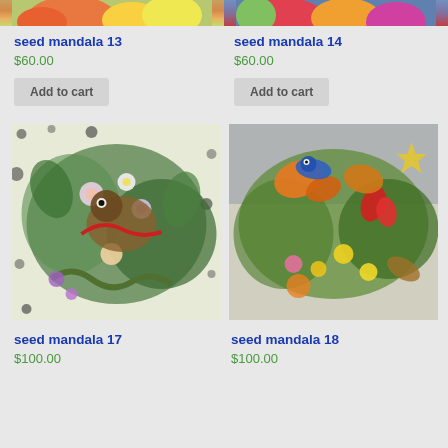[Figure (photo): Partial top crop of seed mandala 13 artwork showing fruits and flowers]
[Figure (photo): Partial top crop of seed mandala 14 artwork showing colorful flowers]
seed mandala 13
$60.00
Add to cart
seed mandala 14
$60.00
Add to cart
[Figure (photo): Seed mandala 17 artwork: dense collage of animals, birds, flowers, butterflies, plants on white background with dark spots]
[Figure (photo): Seed mandala 18 artwork: vibrant collage of butterflies, birds, flowers, fruits, and tropical plants]
seed mandala 17
$100.00
seed mandala 18
$100.00